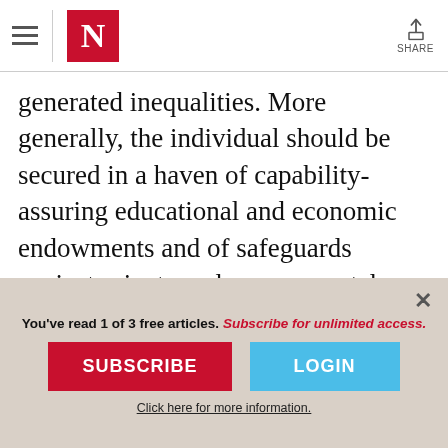N  SHARE
generated inequalities. More generally, the individual should be secured in a haven of capability-assuring educational and economic endowments and of safeguards against private and governmental oppression. Society all around him, however, should be opened up to contest, experiment, and innovation. In that storm, the individual, once safe and
You've read 1 of 3 free articles. Subscribe for unlimited access.
SUBSCRIBE
LOGIN
Click here for more information.